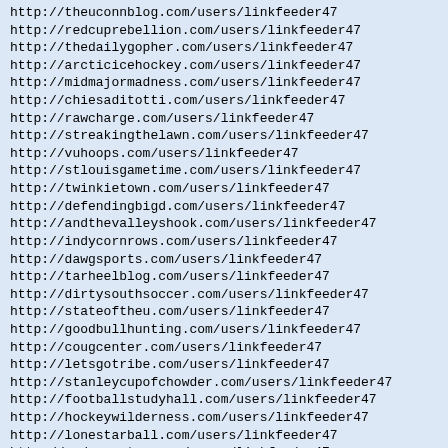http://theuconnblog.com/users/linkfeeder47
http://redcuprebellion.com/users/linkfeeder47
http://thedailygopher.com/users/linkfeeder47
http://arcticicehockey.com/users/linkfeeder47
http://midmajormadness.com/users/linkfeeder47
http://chiesaditotti.com/users/linkfeeder47
http://rawcharge.com/users/linkfeeder47
http://streakingthelawn.com/users/linkfeeder47
http://vuhoops.com/users/linkfeeder47
http://stlouisgametime.com/users/linkfeeder47
http://twinkietown.com/users/linkfeeder47
http://defendingbigd.com/users/linkfeeder47
http://andthevalleyshook.com/users/linkfeeder47
http://indycornrows.com/users/linkfeeder47
http://dawgsports.com/users/linkfeeder47
http://tarheelblog.com/users/linkfeeder47
http://dirtysouthsoccer.com/users/linkfeeder47
http://stateoftheu.com/users/linkfeeder47
http://goodbullhunting.com/users/linkfeeder47
http://cougcenter.com/users/linkfeeder47
http://letsgotribe.com/users/linkfeeder47
http://stanleycupofchowder.com/users/linkfeeder47
http://footballstudyhall.com/users/linkfeeder47
http://hockeywilderness.com/users/linkfeeder47
http://lonestarball.com/users/linkfeeder47
http://redreporter.com/users/linkfeeder47
http://bluebirdbanter.com/users/linkfeeder47
http://musiccitymiracles.com/users/linkfeeder47
http://wingingitinmotown.com/users/linkfeeder47